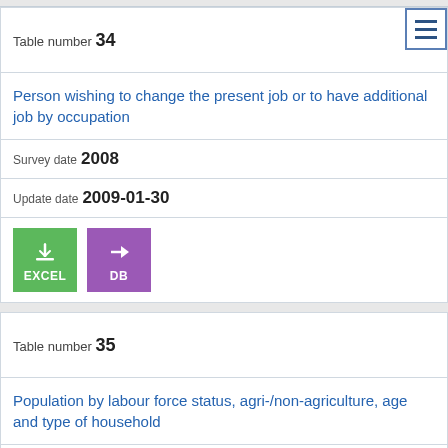Table number 34
Person wishing to change the present job or to have additional job by occupation
Survey date 2008
Update date 2009-01-30
[Figure (other): EXCEL download button (green) and DB button (purple)]
Table number 35
Population by labour force status, agri-/non-agriculture, age and type of household
Survey date 2008
Update date 2009-01-30
[Figure (other): EXCEL download button (green) and DB button (purple) partially visible]